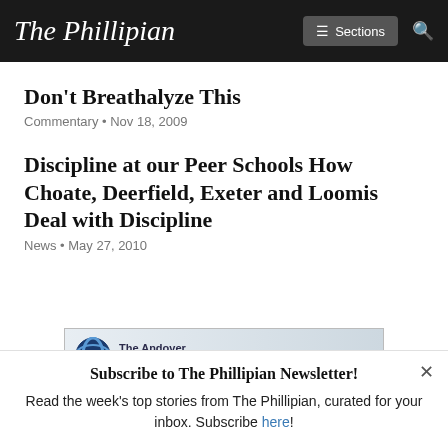The Phillipian | Sections | Search
Don't Breathalyze This
Commentary • Nov 18, 2009
Discipline at our Peer Schools How Choate, Deerfield, Exeter and Loomis Deal with Discipline
News • May 27, 2010
[Figure (illustration): The Andover Parent Community advertisement banner with circular logo]
Subscribe to The Phillipian Newsletter!
Read the week's top stories from The Phillipian, curated for your inbox. Subscribe here!